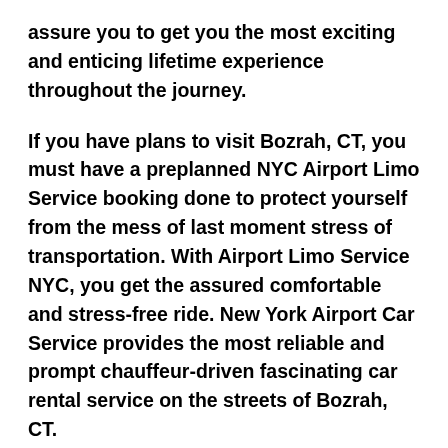assure you to get you the most exciting and enticing lifetime experience throughout the journey.
If you have plans to visit Bozrah, CT, you must have a preplanned NYC Airport Limo Service booking done to protect yourself from the mess of last moment stress of transportation. With Airport Limo Service NYC, you get the assured comfortable and stress-free ride. New York Airport Car Service provides the most reliable and prompt chauffeur-driven fascinating car rental service on the streets of Bozrah, CT.
It makes a great sense to visit the city most impressively by Airport Limo Service NYC. With New York Airport Limo Service, you don't have to take